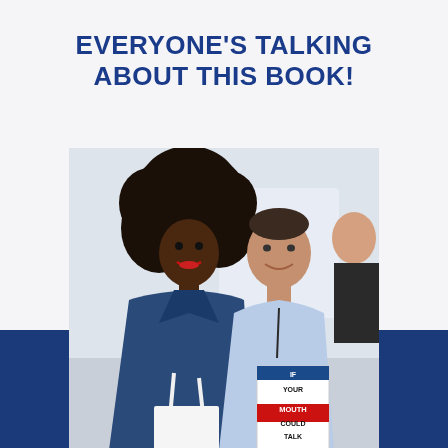EVERYONE'S TALKING ABOUT THIS BOOK!
[Figure (photo): Two people posing together indoors. A woman with a large natural afro hairstyle wearing a denim jacket and holding a white shopping bag stands on the left. A man in a light blue shirt is on the right, holding a book titled 'IF YOUR MOUTH COULD TALK'. In the background there is partial text reading 'You Could Talk'.]